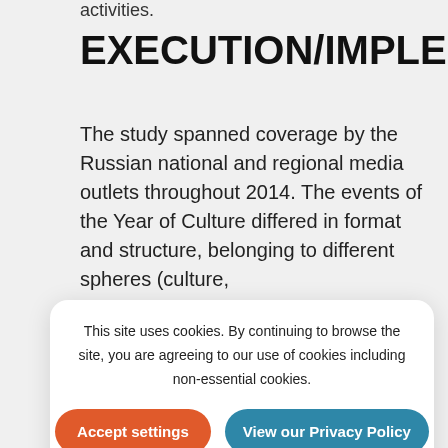activities.
EXECUTION/IMPLEMENTA
The study spanned coverage by the Russian national and regional media outlets throughout 2014. The events of the Year of Culture differed in format and structure, belonging to different spheres (culture,
This site uses cookies. By continuing to browse the site, you are agreeing to our use of cookies including non-essential cookies.
Accept settings
View our Privacy Policy
events) was the main object of the study.